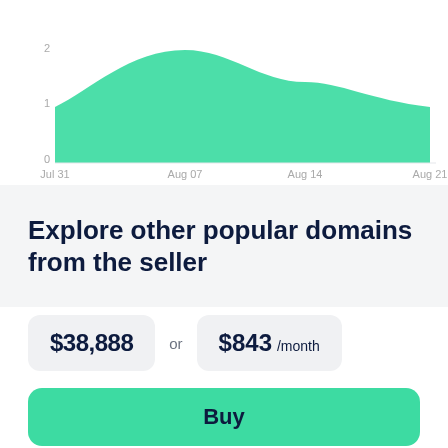[Figure (area-chart): ]
Explore other popular domains from the seller
$38,888 or $843 /month
Buy